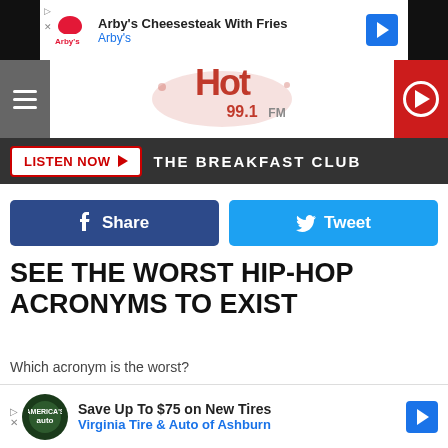[Figure (screenshot): Arby's advertisement banner showing Arby's logo, text 'Arby's Cheesesteak With Fries', 'Arby's', and a blue navigation arrow icon]
[Figure (logo): Hot 99.1 FM radio station logo in red graffiti style with hamburger menu on left and red play button on right]
[Figure (screenshot): Dark gray bar with 'LISTEN NOW' button in red outline and 'THE BREAKFAST CLUB' text in white]
[Figure (screenshot): Social sharing buttons: blue Facebook Share button and light blue Twitter Tweet button]
SEE THE WORST HIP-HOP ACRONYMS TO EXIST
Which acronym is the worst?
[Figure (photo): Trinidad James album art with dark background showing 'TRINIDAD JAMES' on left and 'DON'T BE S.A.F.E. SENSITIVE AS F*** EVERY DAY' on right in gold text]
[Figure (screenshot): Bottom advertisement: 'Save Up To $75 on New Tires' from Virginia Tire & Auto of Ashburn with a green auto logo and blue navigation arrow]